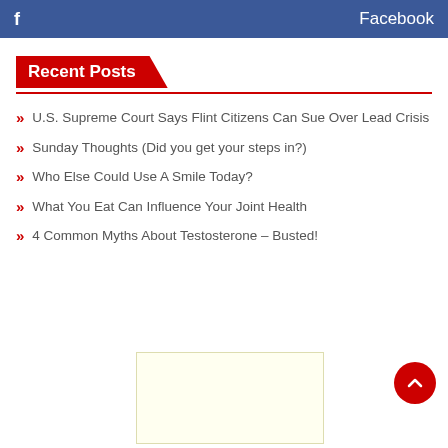f  Facebook
Recent Posts
U.S. Supreme Court Says Flint Citizens Can Sue Over Lead Crisis
Sunday Thoughts (Did you get your steps in?)
Who Else Could Use A Smile Today?
What You Eat Can Influence Your Joint Health
4 Common Myths About Testosterone – Busted!
[Figure (other): Light yellow advertisement/placeholder box]